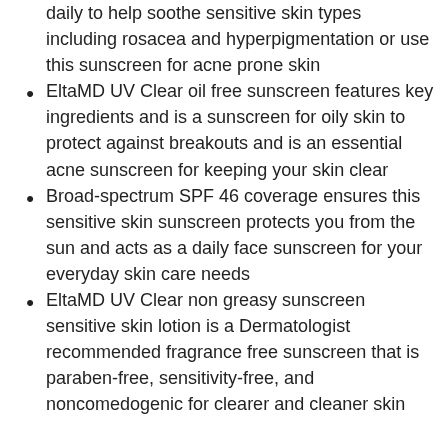daily to help soothe sensitive skin types including rosacea and hyperpigmentation or use this sunscreen for acne prone skin
EltaMD UV Clear oil free sunscreen features key ingredients and is a sunscreen for oily skin to protect against breakouts and is an essential acne sunscreen for keeping your skin clear
Broad-spectrum SPF 46 coverage ensures this sensitive skin sunscreen protects you from the sun and acts as a daily face sunscreen for your everyday skin care needs
EltaMD UV Clear non greasy sunscreen sensitive skin lotion is a Dermatologist recommended fragrance free sunscreen that is paraben-free, sensitivity-free, and noncomedogenic for clearer and cleaner skin